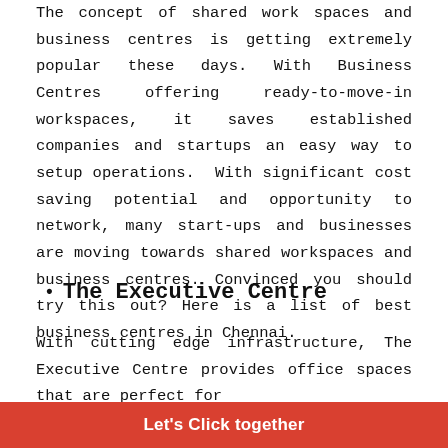The concept of shared work spaces and business centres is getting extremely popular these days. With Business Centres offering ready-to-move-in workspaces, it saves established companies and startups an easy way to setup operations. With significant cost saving potential and opportunity to network, many start-ups and businesses are moving towards shared workspaces and business centres. Convinced you should try this out? Here is a list of best business centres in Chennai.
The Executive Centre
With cutting edge infrastructure, The Executive Centre provides office spaces that are perfect for
Let's Click together